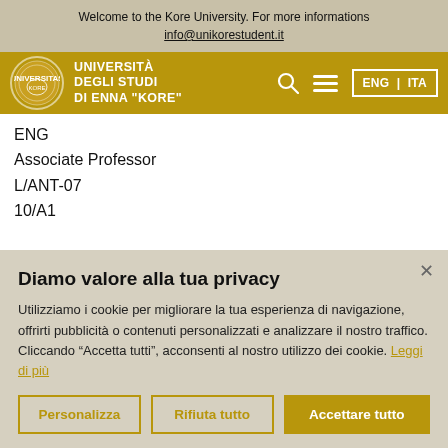Welcome to the Kore University. For more informations info@unikorestudent.it
[Figure (logo): Università degli Studi di Enna 'Kore' university logo with navigation bar including search, menu icons, and ENG | ITA language selector]
ENG
Associate Professor
L/ANT-07
10/A1
Diamo valore alla tua privacy
Utilizziamo i cookie per migliorare la tua esperienza di navigazione, offrirti pubblicità o contenuti personalizzati e analizzare il nostro traffico. Cliccando "Accetta tutti", acconsenti al nostro utilizzo dei cookie. Leggi di più